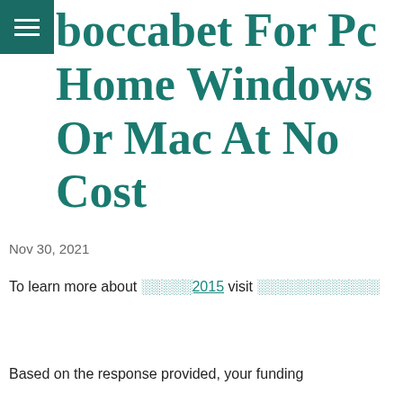boccabet For Pc Home Windows Or Mac At No Cost
Nov 30, 2021
To learn more about ░░░░░2015 visit ░░░░░░░░░░░░
Based on the response provided, your funding